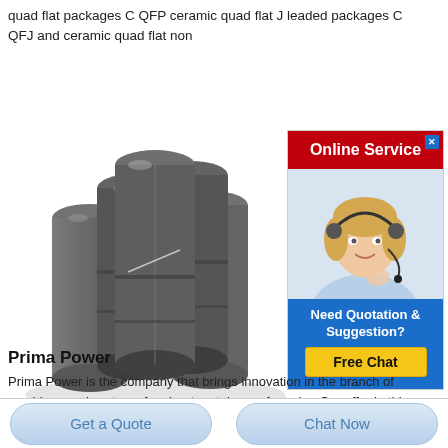quad flat packages C QFP ceramic quad flat J leaded packages C QFJ and ceramic quad flat non
[Figure (photo): Stack of cylindrical graphite or carbon electrode rods bundled together, shown at an angle]
[Figure (screenshot): Online Service advertisement panel with red header saying 'Online Service', a photo of a smiling blonde woman with headset, and a blue bottom section with 'Need Quotation & Suggestion?' text and a yellow 'Free Chat' button]
Prima Power
Prima Power is the company that brings innovation in the branch of machines and systems for sheet metal manufacturing Our offer in this sector is one of the widest in the world...
Get a Quote
Chat Now